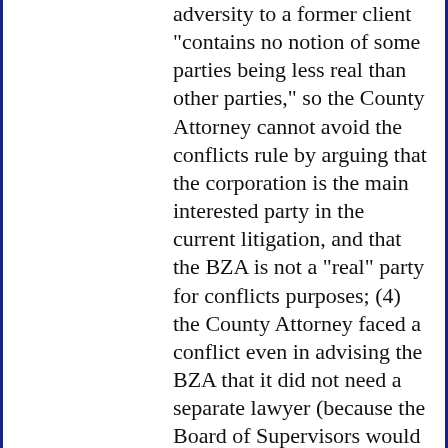adversity to a former client "contains no notion of some parties being less real than other parties," so the County Attorney cannot avoid the conflicts rule by arguing that the corporation is the main interested party in the current litigation, and that the BZA is not a "real" party for conflicts purposes; (4) the County Attorney faced a conflict even in advising the BZA that it did not need a separate lawyer (because the Board of Supervisors would have an